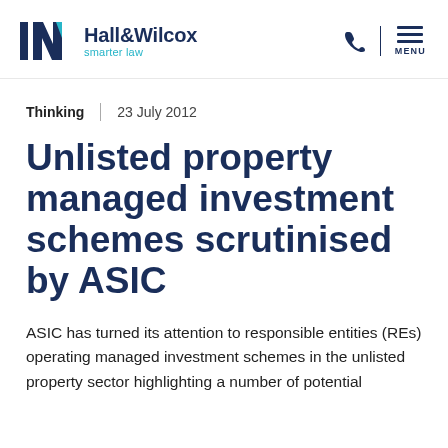[Figure (logo): Hall&Wilcox smarter law logo with stylized H and W letterforms in dark navy and teal]
Hall&Wilcox smarter law
Thinking | 23 July 2012
Unlisted property managed investment schemes scrutinised by ASIC
ASIC has turned its attention to responsible entities (REs) operating managed investment schemes in the unlisted property sector highlighting a number of potential